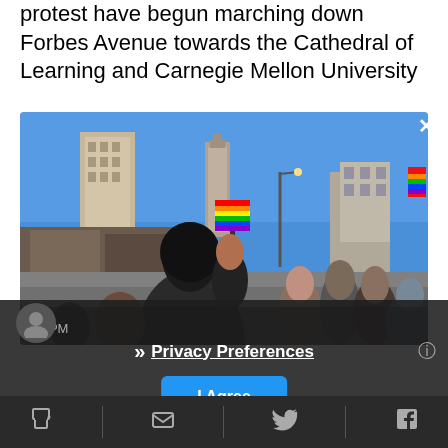protest have begun marching down Forbes Avenue towards the Cathedral of Learning and Carnegie Mellon University
[Figure (photo): Outdoor photo of a protest march on Forbes Avenue in Pittsburgh on a sunny day. A person in black holds a rainbow flag aloft. Tall buildings including the Cathedral of Learning are visible in the background against a clear blue sky. A crowd of protesters fills the street.]
8:22 PM
Privacy Preferences
I Agree